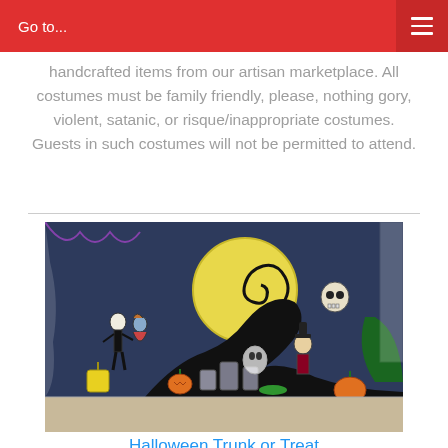Go to...
handcrafted items from our artisan marketplace. All costumes must be family friendly, please, nothing gory, violent, satanic, or risque/inappropriate costumes. Guests in such costumes will not be permitted to attend.
[Figure (photo): Halloween Trunk or Treat display with Nightmare Before Christmas themed decoration: dark blue background with large yellow moon, black spiral hill, cutout characters including Jack Skellington, Sally, Zero, Mayor, and a skeleton, with pumpkins and Halloween decorations on a table in what appears to be a gymnasium or community center.]
Halloween Trunk or Treat